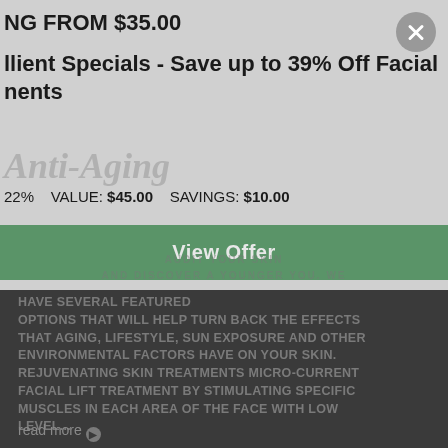NG FROM $35.00
llient Specials - Save up to 39% Off Facial nents
22%   VALUE: $45.00   SAVINGS: $10.00
View Offer
AND DISCOVER A YOUNGER YOU. WE
HAVE SEVERAL FEATURED OPTIONS THAT WILL HELP TURN BACK THE EFFECTS THAT AGING, LIFESTYLE, SUN EXPOSURE AND OTHER ENVIRONMENTAL FACTORS HAVE ON YOUR SKIN. REJUVENATING SKIN TREATMENTS MICRO-CURRENT FACIAL LIFT TREATMENT BY STIMULATING SPECIFIC MUSCLES IN EACH AREA OF THE FACE WITH LOW LEVEL...
read more ⊙